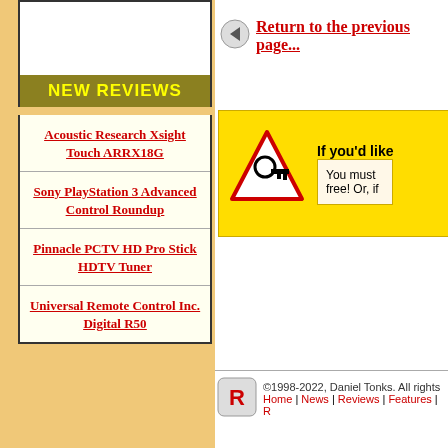NEW REVIEWS
Acoustic Research Xsight Touch ARRX18G
Sony PlayStation 3 Advanced Control Roundup
Pinnacle PCTV HD Pro Stick HDTV Tuner
Universal Remote Control Inc. Digital R50
Return to the previous page...
If you'd like
You must be... free! Or, if
©1998-2022, Daniel Tonks. All rights Home | News | Reviews | Features | R